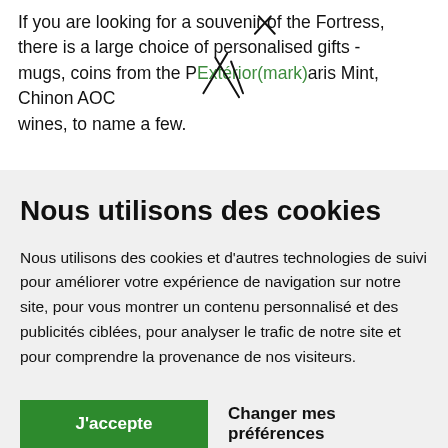If you are looking for a souvenir of the Fortress, there is a large choice of personalised gifts - mugs, coins from the Paris Mint, Chinon AOC wines, to name a few.
Nous utilisons des cookies
Nous utilisons des cookies et d'autres technologies de suivi pour améliorer votre expérience de navigation sur notre site, pour vous montrer un contenu personnalisé et des publicités ciblées, pour analyser le trafic de notre site et pour comprendre la provenance de nos visiteurs.
J'accepte | Changer mes préférences